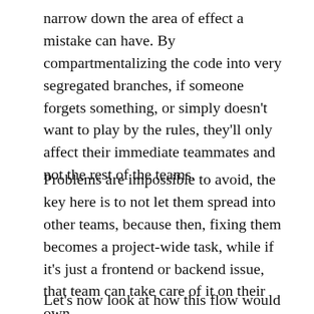narrow down the area of effect a mistake can have. By compartmentalizing the code into very segregated branches, if someone forgets something, or simply doesn't want to play by the rules, they'll only affect their immediate teammates and not the rest of the teams.
Problems are impossible to avoid, the key here is to not let them spread into other teams, because then, fixing them becomes a project-wide task, while if it's just a frontend or backend issue, that team can take care of it on their own.
Let's now look at how this flow would look